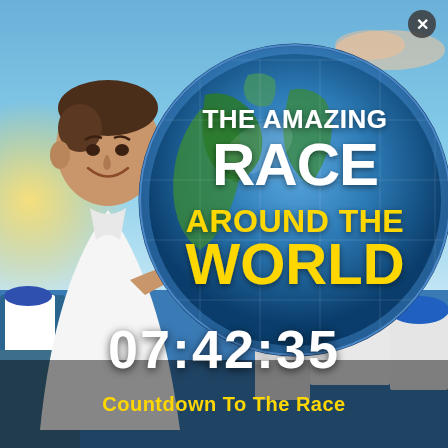[Figure (photo): Promotional image for 'The Amazing Race Around The World' TV show. Shows a smiling man in a white shirt on the left, a large globe graphic in the center-right with the show title text overlaid. Background shows Santorini Greece blue-domed churches, sky with clouds and sunset. The show title reads 'THE AMAZING RACE AROUND THE WORLD' in bold white and yellow lettering.]
07:42:35
Countdown To The Race